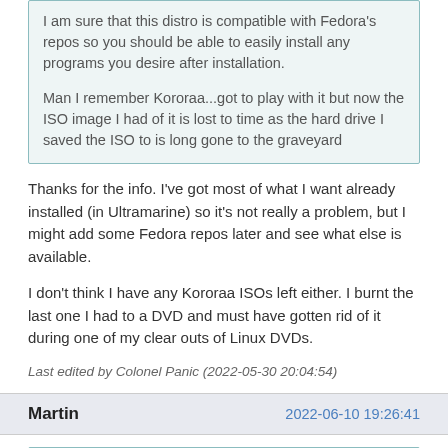I am sure that this distro is compatible with Fedora's repos so you should be able to easily install any programs you desire after installation.
Man I remember Kororaa...got to play with it but now the ISO image I had of it is lost to time as the hard drive I saved the ISO to is long gone to the graveyard
Thanks for the info. I've got most of what I want already installed (in Ultramarine) so it's not really a problem, but I might add some Fedora repos later and see what else is available.
I don't think I have any Kororaa ISOs left either. I burnt the last one I had to a DVD and must have gotten rid of it during one of my clear outs of Linux DVDs.
Last edited by Colonel Panic (2022-05-30 20:04:54)
Martin	2022-06-10 19:26:41
Nili wrote: